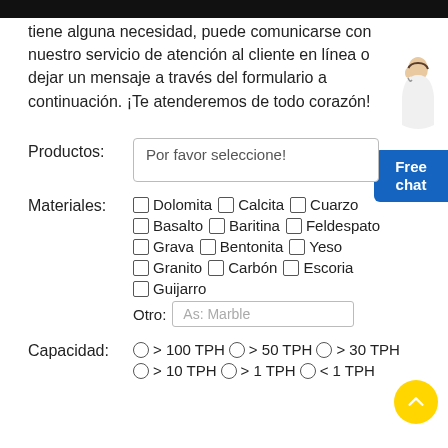tiene alguna necesidad, puede comunicarse con nuestro servicio de atención al cliente en línea o dejar un mensaje a través del formulario a continuación. ¡Te atenderemos de todo corazón!
Productos: Por favor seleccione!
Materiales: □ Dolomita □ Calcita □ Cuarzo □ Basalto □ Baritina □ Feldespato □ Grava □ Bentonita □ Yeso □ Granito □ Carbón □ Escoria □ Guijarro Otro: As: Marble
Capacidad: ○ > 100 TPH ○ > 50 TPH ○ > 30 TPH ○ > 10 TPH ○ > 1 TPH ○ < 1 TPH